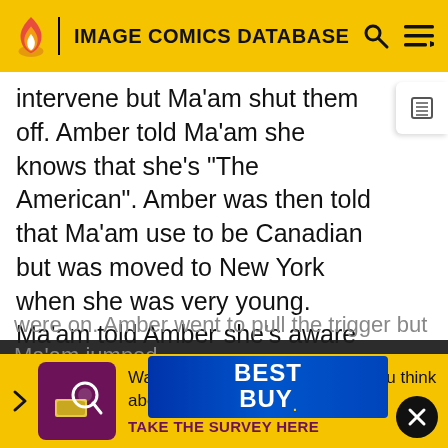IMAGE COMICS DATABASE
intervene but Ma'am shut them off. Amber told Ma'am she knows that she's "The American". Amber was then told that Ma'am use to be Canadian but was moved to New York when she was very young. Ma'am told Amber she's aware she has demands or she'd pull the trigger already. Amber then demanded that all Americans leave Canada alone. Amber told Ma'am that she believed Ma'am blew up their [obscured] but Ma'am [obscured] confe[ssed] [o]nly. Qaba[l managed to shoot the ship. Amber then] were on. Amber went to pull the trigger but Ma'am jumped on her. [Ma'am said every word] said was true. When Ma'am said every word was, Amber still
[Figure (infographic): Watermelon survey popup widget with yellow background. Shows a small square thumbnail image with purple/pink background showing a magnifying glass icon, text reading 'Watermelon survey … What do you think about Harry Styles?' and a call-to-action 'TAKE THE SURVEY HERE' in dark purple bold text.]
[Figure (logo): Best Buy advertisement banner with blue gradient background and white BEST BUY logo text with yellow price tag icon.]